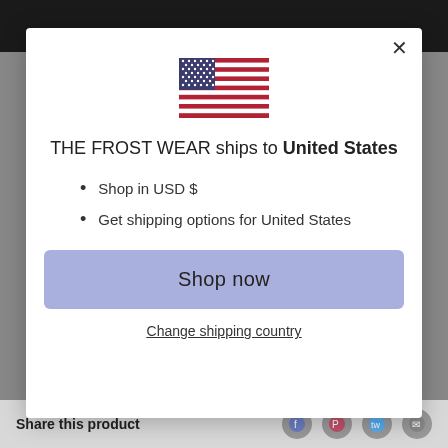[Figure (illustration): US flag emoji/icon displayed centered in the modal dialog]
THE FROST WEAR ships to United States
Shop in USD $
Get shipping options for United States
Shop now
Change shipping country
Share this product